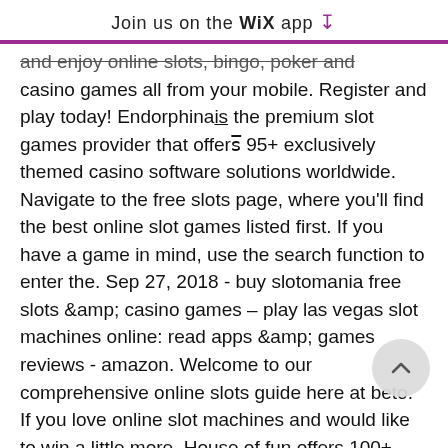Join us on the WiX app ↓
and enjoy online slots, bingo, poker and casino games all from your mobile. Register and play today! Endorphina is the premium slot games provider that offers 95+ exclusively themed casino software solutions worldwide. Navigate to the free slots page, where you'll find the best online slot games listed first. If you have a game in mind, use the search function to enter the. Sep 27, 2018 - buy slotomania free slots &amp; casino games – play las vegas slot machines online: read apps &amp; games reviews - amazon. Welcome to our comprehensive online slots guide here at beto. If you love online slot machines and would like to win a little more. House of fun offers 100+ free casino slots. Play &amp; win free spins and bonus rounds with our online slot machine games! Win big with our 3000+ online slot machines. Bag yourself the free